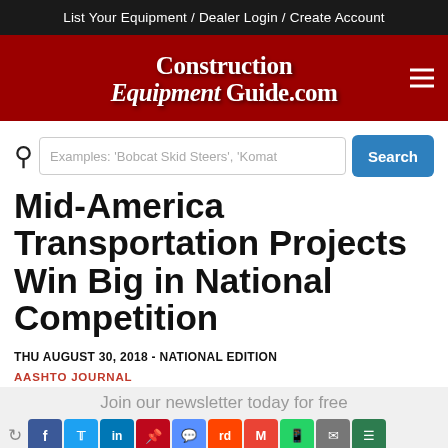List Your Equipment / Dealer Login / Create Account
Construction Equipment Guide.com
[Figure (screenshot): Search bar with magnifying glass icon, text input placeholder reading "Examples: 'Bobcat Skid Steers', 'Komat", and a blue Search button]
Mid-America Transportation Projects Win Big in National Competition
THU AUGUST 30, 2018 - NATIONAL EDITION
AASHTO JOURNAL
Join our newsletter today for free
[Figure (infographic): Social sharing icons row: retweet, Facebook, Twitter, LinkedIn, Pinterest, Messenger, Reddit, Gmail, WhatsApp, Email, Menu]
[Figure (screenshot): Email subscription input box with placeholder 'Enter your email' and blue 'Subscribe Now' button]